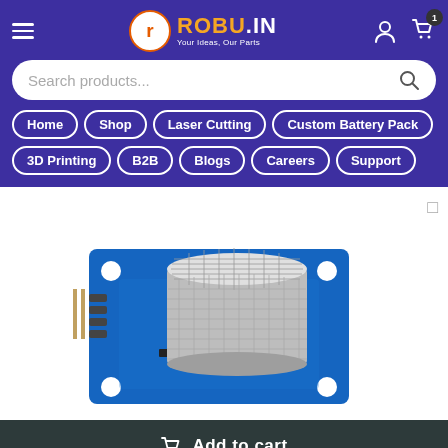[Figure (logo): Robu.in logo with orange r in circle and text ROBU.IN with tagline Your Ideas, Our Parts]
Home
Shop
Laser Cutting
Custom Battery Pack
3D Printing
B2B
Blogs
Careers
Support
[Figure (photo): MQ-series gas sensor module on blue PCB with cylindrical metal mesh sensor cap and pin headers]
Add to cart